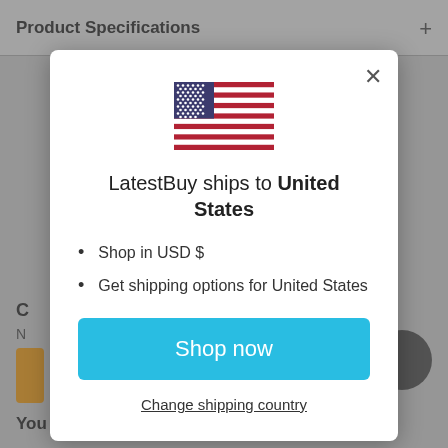Product Specifications
[Figure (screenshot): Modal dialog showing LatestBuy ships to United States with US flag, bullet points, Shop now button, and Change shipping country link]
LatestBuy ships to United States
Shop in USD $
Get shipping options for United States
Shop now
Change shipping country
You may also like